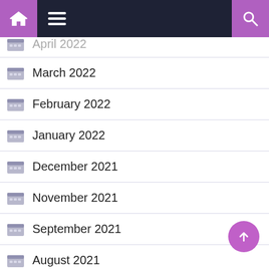Navigation bar with home, menu, and search icons
April 2022
March 2022
February 2022
January 2022
December 2021
November 2021
September 2021
August 2021
July 2021
June 2021